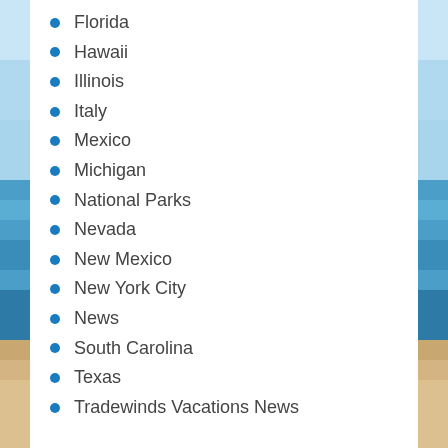Florida
Hawaii
Illinois
Italy
Mexico
Michigan
National Parks
Nevada
New Mexico
New York City
News
South Carolina
Texas
Tradewinds Vacations News